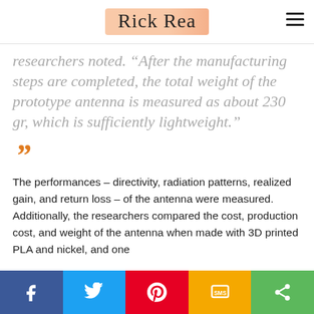Rick Rea
researchers noted. “After the manufacturing steps are completed, the total weight of the prototype antenna is measured as about 230 gr, which is sufficiently lightweight.”
”
The performances – directivity, radiation patterns, realized gain, and return loss – of the antenna were measured. Additionally, the researchers compared the cost, production cost, and weight of the antenna when made with 3D printed PLA and nickel, and one
Facebook Twitter Pinterest SMS Share